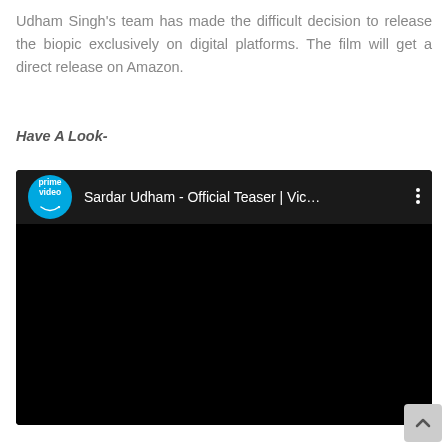Udham Singh's team has made the difficult decision to release the biopic exclusively on digital platforms. The film will get a direct release on Amazon.
Have A Look-
[Figure (screenshot): Embedded video player showing Amazon Prime Video teaser for 'Sardar Udham - Official Teaser | Vic...' with Prime Video logo (blue circle) on dark background. The main video area is black.]